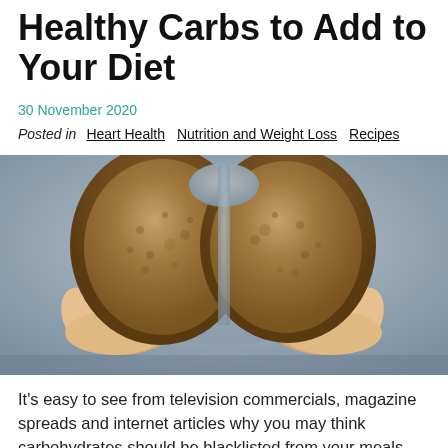Healthy Carbs to Add to Your Diet
30 November 2020
Posted in  Heart Health  Nutrition and Weight Loss  Recipes
[Figure (photo): Person holding a partially eaten slice of whole grain bread with both hands, breaking it apart. Close-up shot with blurred blue-grey background.]
It's easy to see from television commercials, magazine spreads and internet articles why you may think carbohydrates should be blacklisted from your meals.